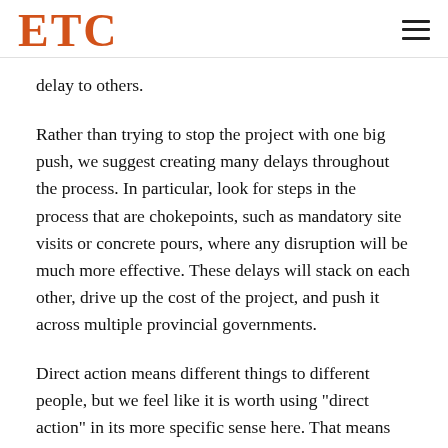ETC
delay to others.
Rather than trying to stop the project with one big push, we suggest creating many delays throughout the process. In particular, look for steps in the process that are chokepoints, such as mandatory site visits or concrete pours, where any disruption will be much more effective. These delays will stack on each other, drive up the cost of the project, and push it across multiple provincial governments.
Direct action means different things to different people, but we feel like it is worth using "direct action" in its more specific sense here. That means taking actions that directly stop the thing you don't want to happen from